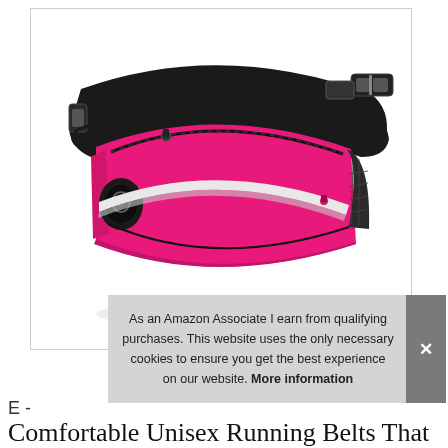[Figure (photo): Pink running belt / fanny pack with black adjustable strap, two zippered pockets, reflective stripe, and earphone port, shown on white background]
As an Amazon Associate I earn from qualifying purchases. This website uses the only necessary cookies to ensure you get the best experience on our website. More information
E -
Comfortable Unisex Running Belts That